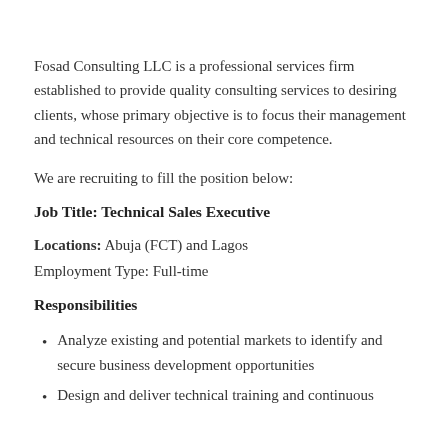Fosad Consulting LLC is a professional services firm established to provide quality consulting services to desiring clients, whose primary objective is to focus their management and technical resources on their core competence.
We are recruiting to fill the position below:
Job Title: Technical Sales Executive
Locations: Abuja (FCT) and Lagos
Employment Type: Full-time
Responsibilities
Analyze existing and potential markets to identify and secure business development opportunities
Design and deliver technical training and continuous